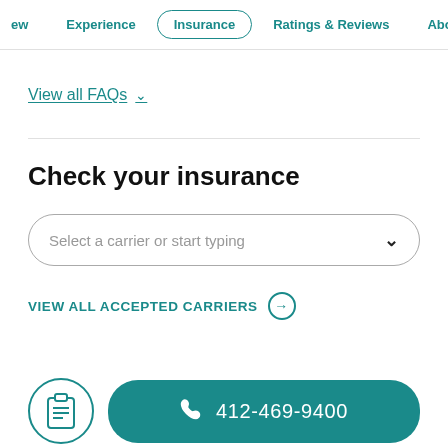ew  Experience  Insurance  Ratings & Reviews  About Me
View all FAQs  ∨
Check your insurance
Select a carrier or start typing
VIEW ALL ACCEPTED CARRIERS →
412-469-9400